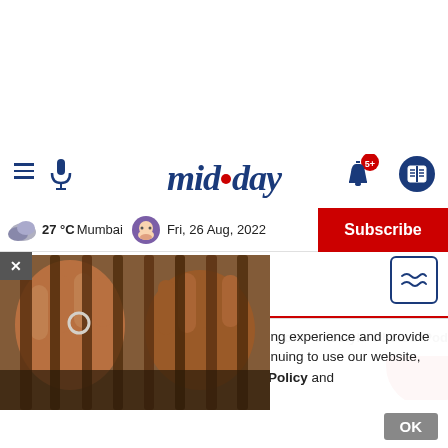[Figure (logo): mid-day logo with blue serif italic text and red dot between mid and day]
27 °C Mumbai   Fri, 26 Aug, 2022   Subscribe
[Figure (photo): Hands gripping prison bars — close-up of two dark-skinned hands holding vertical metal bars]
ports   Lifestyle   Photos   Podcast   Ti...
hilar technologies, to enhance your browsing experience and provide personalised recommendations. By continuing to use our website, you agree to our Privacy Policy and Cookie Policy.